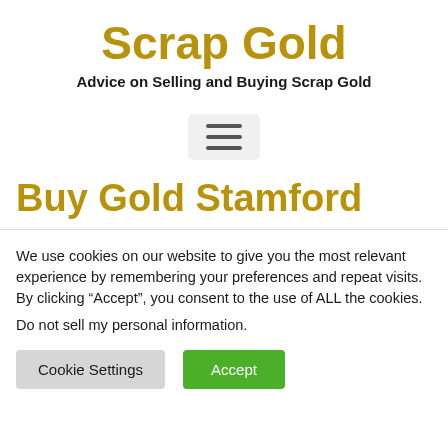Scrap Gold
Advice on Selling and Buying Scrap Gold
[Figure (other): Hamburger menu icon button with three horizontal lines on a light grey rounded rectangle background]
Buy Gold Stamford
We use cookies on our website to give you the most relevant experience by remembering your preferences and repeat visits. By clicking “Accept”, you consent to the use of ALL the cookies.
Do not sell my personal information.
Cookie Settings    Accept